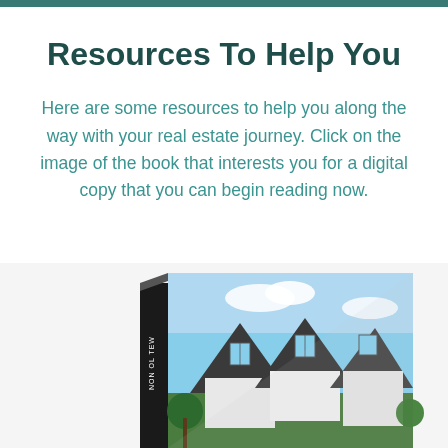Resources To Help You
Here are some resources to help you along the way with your real estate journey. Click on the image of the book that interests you for a digital copy that you can begin reading now.
[Figure (photo): A 3D book with a cover showing white-roofed houses against a blue sky, partially cut off at bottom of page]